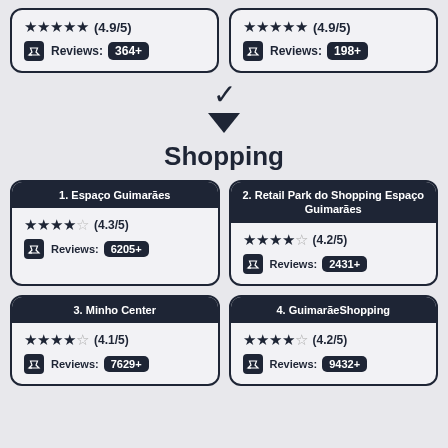[Figure (infographic): Two rating cards at top (4.9/5, 364+ reviews and 4.9/5, 198+ reviews), a down chevron arrow, a Shopping section header, and four shopping venue rating cards: 1. Espaço Guimarães (4.3/5, 6205+), 2. Retail Park do Shopping Espaço Guimarães (4.2/5, 2431+), 3. Minho Center (4.1/5, 7629+), 4. GuimarãeShopping (4.2/5, 9432+)]